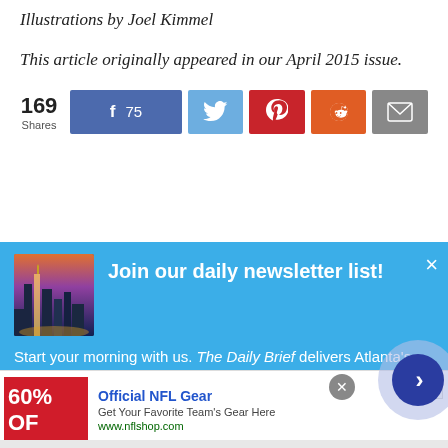Illustrations by Joel Kimmel
This article originally appeared in our April 2015 issue.
[Figure (infographic): Social share bar showing 169 total shares with Facebook (75), Twitter, Pinterest, Reddit, and Email buttons]
[Figure (infographic): Newsletter signup popup with city skyline photo, title 'Join our daily newsletter list!', close X button, and text 'Start your morning with us. The Daily Brief delivers Atlanta's latest stories and hottest conversations right to...']
[Figure (infographic): Advertisement banner for Official NFL Gear showing '60% OFF' text, title 'Official NFL Gear', description 'Get Your Favorite Team’s Gear Here', URL 'www.nflshop.com', with a navigation arrow circle button overlay]